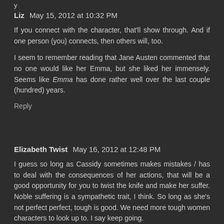y
Liz  May 15, 2012 at 10:32 PM
If you connect with the character, that'll show through. And if one person (you) connects, then others will, too.
I seem to remember reading that Jane Austen commented that no one would like her Emma, but she liked her immensely. Seems like Emma has done rather well over the last couple (hundred) years.
Reply
Elizabeth Twist  May 16, 2012 at 12:48 PM
I guess so long as Cassidy sometimes makes mistakes / has to deal with the consequences of her actions, that will be a good opportunity for you to twist the knife and make her suffer. Noble suffering is a sympathetic trait, I think. So long as she's not perfect perfect, tough is good. We need more tough women characters to look up to. I say keep going.